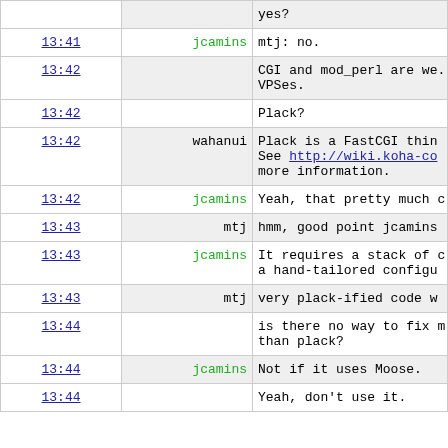| Time | Nick | Message |
| --- | --- | --- |
|  |  | yes? |
| 13:41 | jcamins | mtj: no. |
| 13:42 |  | CGI and mod_perl are we... VPSes. |
| 13:42 |  | Plack? |
| 13:42 | wahanui | Plack is a FastCGI thin... See http://wiki.koha-co... more information. |
| 13:42 | jcamins | Yeah, that pretty much c... |
| 13:43 | mtj | hmm, good point jcamins... |
| 13:43 | jcamins | It requires a stack of ... a hand-tailored configu... |
| 13:43 | mtj | very plack-ified code w... |
| 13:44 |  | is there no way to fix ... than plack? |
| 13:44 | jcamins | Not if it uses Moose. |
| 13:44 |  | Yeah, don't use it. |